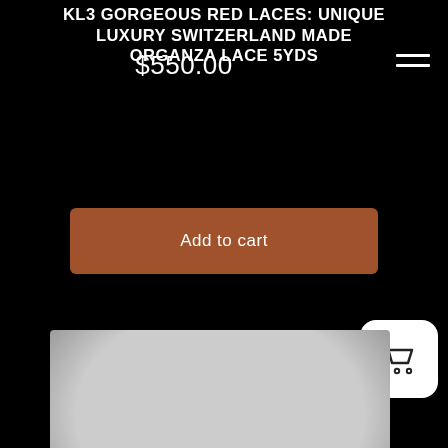KL3 Gorgeous Red Laces: UNIQUE LUXURY SWITZERLAND MADE ORGANZA LACE 5YDS
$550.00
[Figure (screenshot): Add to cart button (brown/copper colored) and shopping cart icon on white rounded square background. Below is a large blurred gray product image placeholder on a black background.]